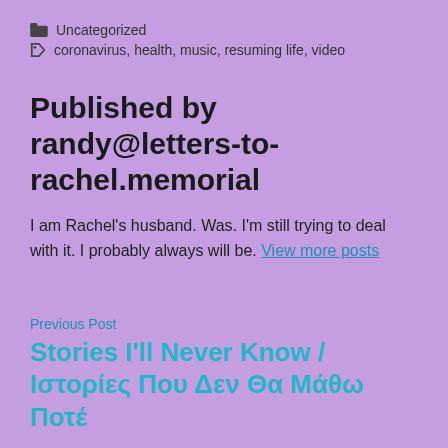Uncategorized
coronavirus, health, music, resuming life, video
Published by randy@letters-to-rachel.memorial
I am Rachel's husband. Was. I'm still trying to deal with it. I probably always will be. View more posts
Previous Post
Stories I'll Never Know / Ιστορίες Που Δεν Θα Μάθω Ποτέ